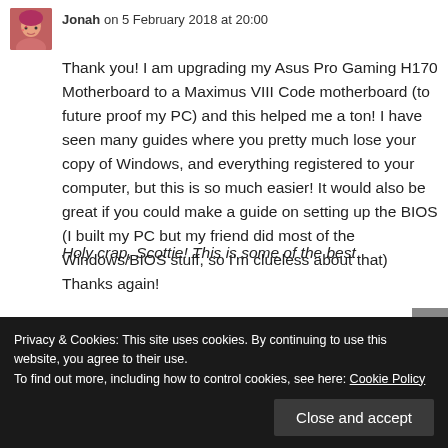[Figure (photo): Avatar photo of user Jonah — woman with pink/red hair]
Jonah on 5 February 2018 at 20:00
Thank you! I am upgrading my Asus Pro Gaming H170 Motherboard to a Maximus VIII Code motherboard (to future proof my PC) and this helped me a ton! I have seen many guides where you pretty much lose your copy of Windows, and everything registered to your computer, but this is so much easier! It would also be great if you could make a guide on setting up the BIOS (I built my PC but my friend did most of the Windows/BIOS stuff, so I'm clueless about that) Thanks again!
Privacy & Cookies: This site uses cookies. By continuing to use this website, you agree to their use.
To find out more, including how to control cookies, see here: Cookie Policy
Close and accept
Holy crap, Scottie! This is some of the best